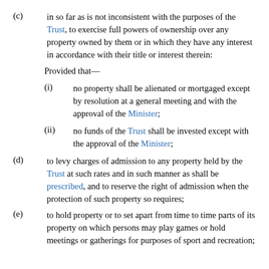(c) in so far as is not inconsistent with the purposes of the Trust, to exercise full powers of ownership over any property owned by them or in which they have any interest in accordance with their title or interest therein:
Provided that—
(i) no property shall be alienated or mortgaged except by resolution at a general meeting and with the approval of the Minister;
(ii) no funds of the Trust shall be invested except with the approval of the Minister;
(d) to levy charges of admission to any property held by the Trust at such rates and in such manner as shall be prescribed, and to reserve the right of admission when the protection of such property so requires;
(e) to hold property or to set apart from time to time parts of its property on which persons may play games or hold meetings or gatherings for purposes of sport and recreation;